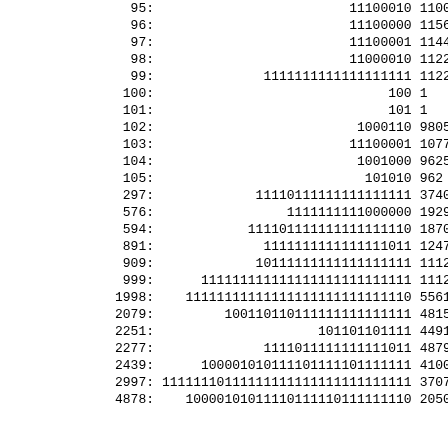| index | binary | value |
| --- | --- | --- |
| 95: | 11100010 | 1100 |
| 96: | 11100000 | 115625 |
| 97: | 11100001 | 114433 |
| 98: | 11000010 | 112245 |
| 99: | 1111111111111111111 | 11223344... |
| 100: | 100 | 1 |
| 101: | 101 | 1 |
| 102: | 1000110 | 9805 |
| 103: | 11100001 | 107767 |
| 104: | 1001000 | 9625 |
| 105: | 101010 | 962 |
| 297: | 11110111111111111111 | 37407781... |
| 576: | 1111111111000000 | 19290123... |
| 594: | 111101111111111111110 | 18703890... |
| 891: | 1111111111111111011 | 12470382... |
| 909: | 10111111111111111111 | 11112333... |
| 999: | 111111111111111111111111111 | 11122233... |
| 1998: | 11111111111111111111111111110 | 55611166... |
| 2079: | 100110110111111111111111 | 48153011... |
| 2251: | 101101101111 | 44913861 |
| 2277: | 1111011111111111011 | 48792758... |
| 2439: | 100001010111101111101111111 | 41000824... |
| 2997: | 11111110111111111111111111111111 | 37074077... |
| 4878: | 10000101011110111110111111110 | 20500412... |